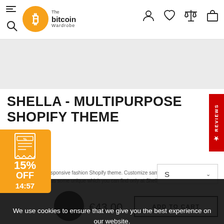The Bitcoin Wardrobe - navigation header with menu, search, user, wishlist, compare, cart icons
[Figure (screenshot): Gray banner/hero image area placeholder]
SHELLA - MULTIPURPOSE SHOPIFY THEME
Shella - premium responsive fashion Shopify theme. Customize same features as other theme templates, plus some unique which you can find only at Shella theme. Builder must-have filter for ...
We use cookies to ensure that we give you the best experience on our website.
PRIVACY POLICY   ACCEPT ✓
[Figure (infographic): Orange discount tag showing 15% OFF with 14:57 timer and receipt icon]
€43,00
S (size dropdown)
ADD TO CART